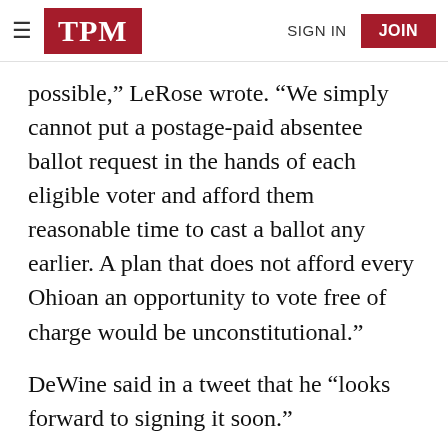TPM | SIGN IN | JOIN
possible,” LeRose wrote. “We simply cannot put a postage-paid absentee ballot request in the hands of each eligible voter and afford them reasonable time to cast a ballot any earlier. A plan that does not afford every Ohioan an opportunity to vote free of charge would be unconstitutional.”
DeWine said in a tweet that he “looks forward to signing it soon.”
In a Wednesday interview, though, he did express dismay that the legislature so significantly broke with the original plan.